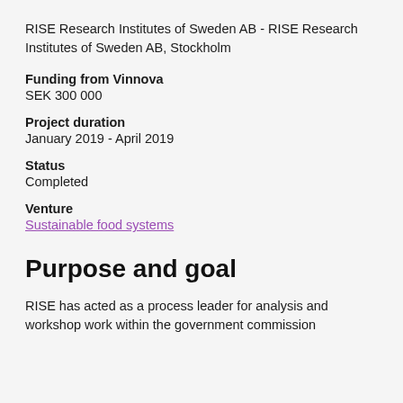RISE Research Institutes of Sweden AB - RISE Research Institutes of Sweden AB, Stockholm
Funding from Vinnova
SEK 300 000
Project duration
January 2019 - April 2019
Status
Completed
Venture
Sustainable food systems
Purpose and goal
RISE has acted as a process leader for analysis and workshop work within the government commission